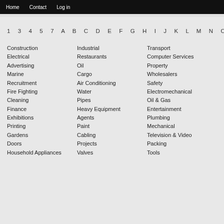Home  Contact  Log in
1  3  4  5  7  A  B  C  D  E  F  G  H  I  J  K  L  M  N  O  P  Q  R  S
Construction
Electrical
Advertising
Marine
Recruitment
Fire Fighting
Cleaning
Finance
Exhibitions
Printing
Gardens
Doors
Household Appliances
Industrial
Restaurants
Oil
Cargo
Air Conditioning
Water
Pipes
Heavy Equipment
Agents
Paint
Cabling
Projects
Valves
Transport
Computer Services
Property
Wholesalers
Safety
Electromechanical
Oil & Gas
Entertainment
Plumbing
Mechanical
Television & Video
Packing
Tools